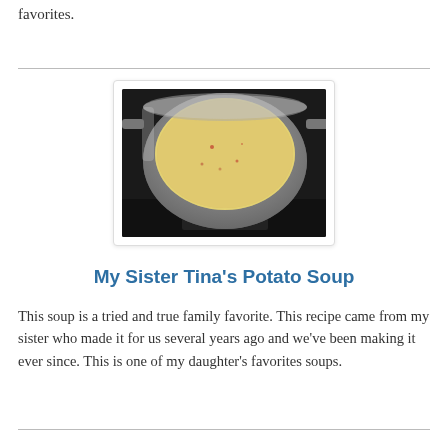favorites.
[Figure (photo): A large silver pot of creamy potato soup on a stovetop, viewed from above, with a light yellow/cream colored soup with small bits of pepper or vegetables visible.]
My Sister Tina's Potato Soup
This soup is a tried and true family favorite. This recipe came from my sister who made it for us several years ago and we've been making it ever since. This is one of my daughter's favorites soups.